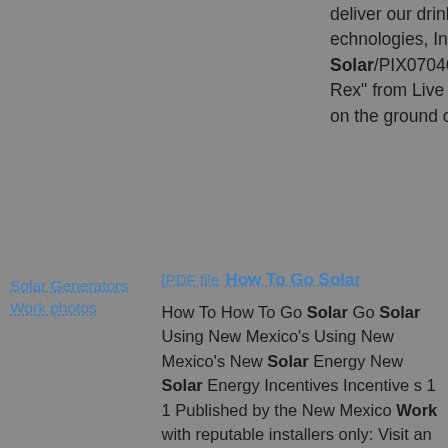deliver our drinking water and help SunWize Technologies, Inc./PIX07026 Live Oak Solar/PIX07046 Mobile generators like the "T-Rex" from Live Oak Solar can be transported on the ground or in the air. ... Return Document
Solar Generators Work photos
PDF file How To Go Solar
How To How To Go Solar Go Solar Using New Mexico's Using New Mexico's New Solar Energy New Solar Energy Incentives Incentive s 1 1 Published by the New Mexico Work with reputable installers only: Visit an